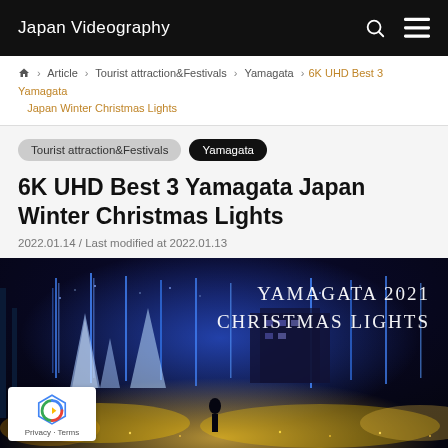Japan Videography
🏠 > Article > Tourist attraction&Festivals > Yamagata > 6K UHD Best 3 Yamagata Japan Winter Christmas Lights
Tourist attraction&Festivals
Yamagata
6K UHD Best 3 Yamagata Japan Winter Christmas Lights
2022.01.14 / Last modified at 2022.01.13
[Figure (photo): Night scene of Yamagata 2021 Christmas Lights illumination with blue and white LED lights on trees and pyramid-shaped decorations. Text overlay reads 'YAMAGATA 2021 CHRISTMAS LIGHTS']